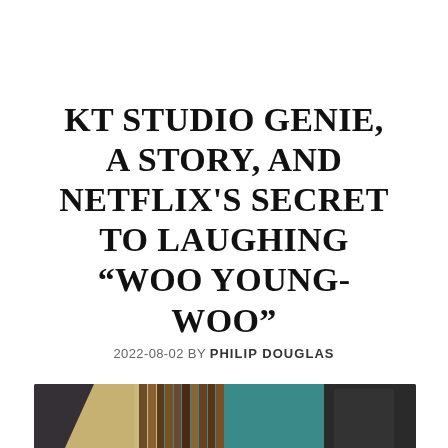KT STUDIO GENIE, A STORY, AND NETFLIX'S SECRET TO LAUGHING “WOO YOUNG-WOO”
2022-08-02 BY PHILIP DOUGLAS
[Figure (photo): Photo showing the back of a person's head with dark hair, sitting at a desk with books and shelves visible in the background. Pink Korean text overlay reads '직바로 읽어도 거꽰로 읽어도' (reads the same forwards and backwards).]